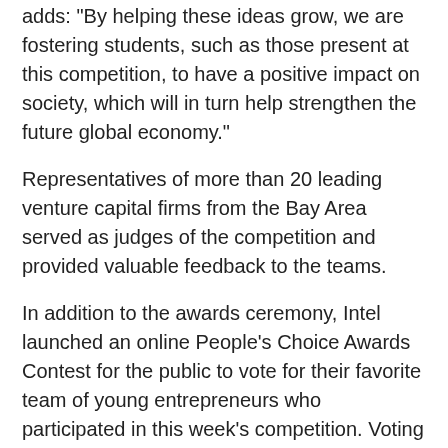adds: "By helping these ideas grow, we are fostering students, such as those present at this competition, to have a positive impact on society, which will in turn help strengthen the future global economy."
Representatives of more than 20 leading venture capital firms from the Bay Area served as judges of the competition and provided valuable feedback to the teams.
In addition to the awards ceremony, Intel launched an online People's Choice Awards Contest for the public to vote for their favorite team of young entrepreneurs who participated in this week's competition. Voting will end on Dec. 6 at 12 p.m. EST. Visit inspiredbyeducation.com/vote to learn more and vote.
Posted in Alumni News